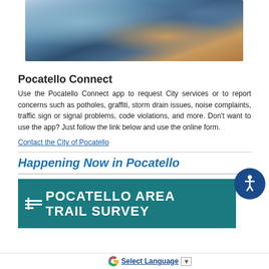[Figure (photo): Hand holding a smartphone taking a photo at night, partial view of phone screen and fingers]
Pocatello Connect
Use the Pocatello Connect app to request City services or to report concerns such as potholes, graffiti, storm drain issues, noise complaints, traffic sign or signal problems, code violations, and more. Don't want to use the app? Just follow the link below and use the online form.
Contact the City of Pocatello
Happening Now in Pocatello
[Figure (illustration): Teal banner reading POCATELLO AREA TRAIL SURVEY with trail icon]